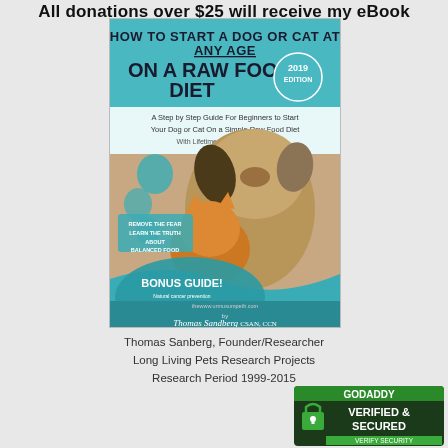All donations over $25 will receive my eBook
[Figure (illustration): Book cover: 'How to Start a Dog or Cat at Any Age On a Raw Food Diet' 2019 Edition by Thomas Sandberg CSAN, CCN. Features a dog and cat photo, teal paw print design, bonus guide about natural cancer prevention strategies, subtitle 'A Step by Step Guide For Beginners to Start Your Dog or Cat On a Simple Raw Food Diet With Lifetime Help and Support']
Thomas Sanberg, Founder/Researcher
Long Living Pets Research Projects
Research Period 1999-2015
[Figure (logo): GoDaddy Verified & Secured badge]